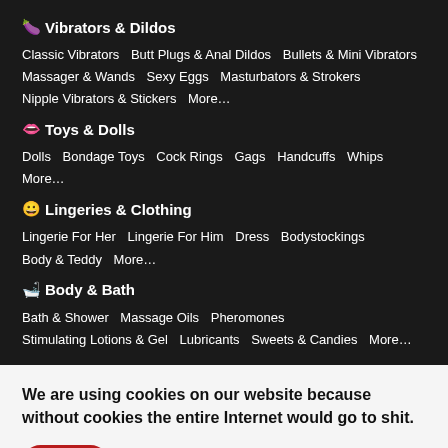🍆 Vibrators & Dildos
Classic Vibrators   Butt Plugs & Anal Dildos   Bullets & Mini Vibrators   Massager & Wands   Sexy Eggs   Masturbators & Strokers   Nipple Vibrators & Stickers   More…
👄 Toys & Dolls
Dolls   Bondage Toys   Cock Rings   Gags   Handcuffs   Whips   More…
😀 Lingeries & Clothing
Lingerie For Her   Lingerie For Him   Dress   Bodystockings   Body & Teddy   More…
🛁 Body & Bath
Bath & Shower   Massage Oils   Pheromones   Stimulating Lotions & Gel   Lubricants   Sweets & Candies   More…
We are using cookies on our website because without cookies the entire Internet would go to shit.
Fine